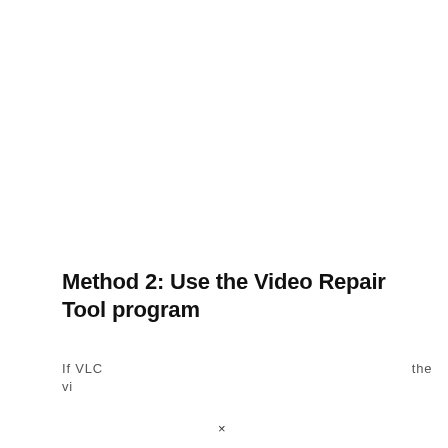Method 2: Use the Video Repair Tool program
If VLC does not can help you to the vi...
×